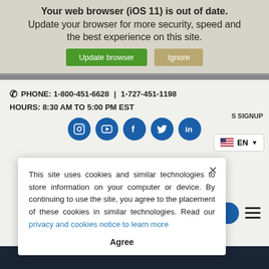Your web browser (iOS 11) is out of date. Update your browser for more security, speed and the best experience on this site.
Update browser  Ignore
PHONE: 1-800-451-6628 | 1-727-451-1198
HOURS: 8:30 AM TO 5:00 PM EST
[Figure (infographic): Row of five blue circular social media icons: Instagram, YouTube, Facebook, Twitter, LinkedIn]
S SIGNUP
EN (language selector)
This site uses cookies and similar technologies to store information on your computer or device. By continuing to use the site, you agree to the placement of these cookies in similar technologies. Read our privacy and cookies notice to learn more
Agree